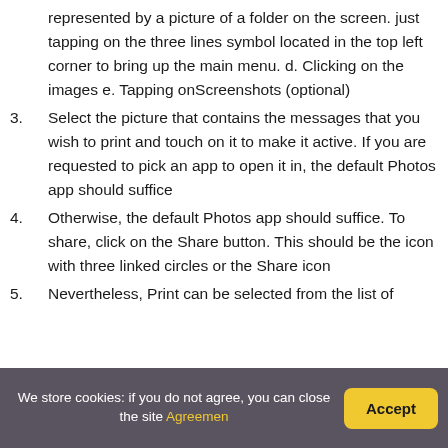represented by a picture of a folder on the screen. just tapping on the three lines symbol located in the top left corner to bring up the main menu. d. Clicking on the images e. Tapping onScreenshots (optional)
3. Select the picture that contains the messages that you wish to print and touch on it to make it active. If you are requested to pick an app to open it in, the default Photos app should suffice
4. Otherwise, the default Photos app should suffice. To share, click on the Share button. This should be the icon with three linked circles or the Share icon
5. Nevertheless, Print can be selected from the list of
We store cookies: if you do not agree, you can close the site Agreemen